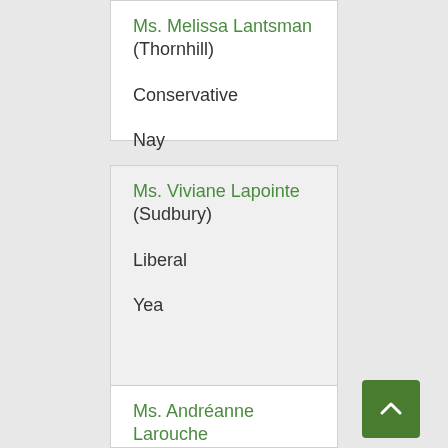Ms. Melissa Lantsman
(Thornhill)

Conservative

Nay
Ms. Viviane Lapointe
(Sudbury)

Liberal

Yea
Ms. Andréanne Larouche
(Shefford)

Bloc Québécois